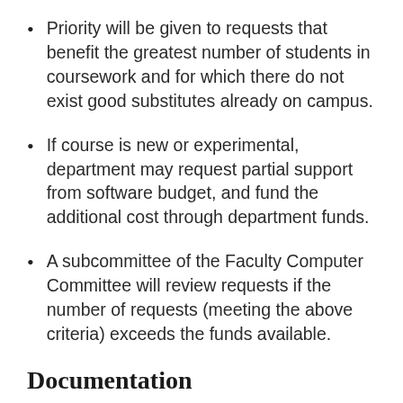Priority will be given to requests that benefit the greatest number of students in coursework and for which there do not exist good substitutes already on campus.
If course is new or experimental, department may request partial support from software budget, and fund the additional cost through department funds.
A subcommittee of the Faculty Computer Committee will review requests if the number of requests (meeting the above criteria) exceeds the funds available.
Documentation